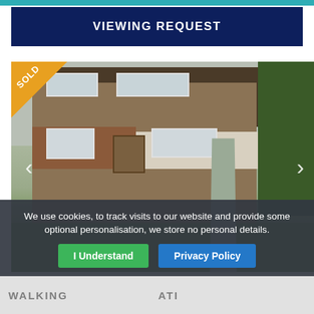VIEWING REQUEST
[Figure (photo): Exterior photo of a semi-detached house with brown tile cladding, red brick lower sections, white render panels, a front garden with grass and shrubs, and a paved pathway. A 'SOLD' banner is shown in the top-left corner of the image. Navigation arrows (< >) appear on either side of the photo.]
We use cookies, to track visits to our website and provide some optional personalisation, we store no personal details.
I Understand
Privacy Policy
WALKIN... ATI...